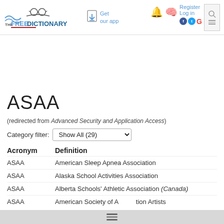THE FREE DICTIONARY BY FARLEX — Get our app — Register Log in
ASAA (redirected from Advanced Security and Application Access)
Category filter: Show All (29)
| Acronym | Definition |
| --- | --- |
| ASAA | American Sleep Apnea Association |
| ASAA | Alaska School Activities Association |
| ASAA | Alberta Schools' Athletic Association (Canada) |
| ASAA | American Society of Animation Artists |